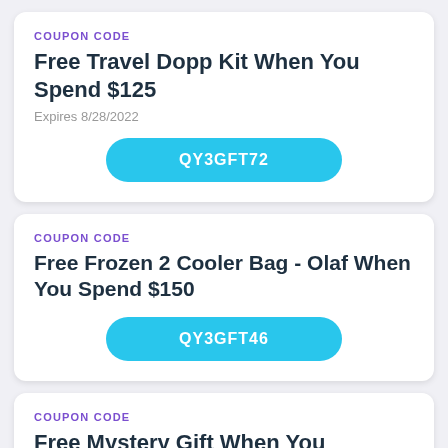COUPON CODE
Free Travel Dopp Kit When You Spend $125
Expires 8/28/2022
QY3GFT72
COUPON CODE
Free Frozen 2 Cooler Bag - Olaf When You Spend $150
QY3GFT46
COUPON CODE
Free Mystery Gift When You